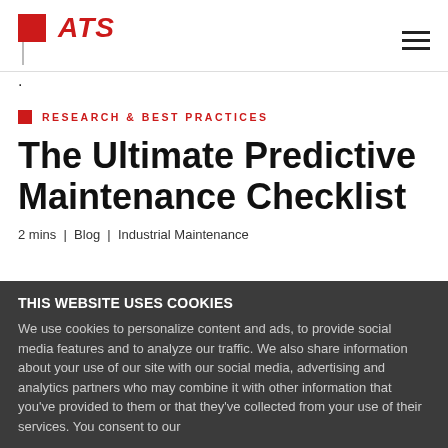ATS
.
RESEARCH & BEST PRACTICES
The Ultimate Predictive Maintenance Checklist
2 mins | Blog | Industrial Maintenance
THIS WEBSITE USES COOKIES
We use cookies to personalize content and ads, to provide social media features and to analyze our traffic. We also share information about your use of our site with our social media, advertising and analytics partners who may combine it with other information that you've provided to them or that they've collected from your use of their services. You consent to our